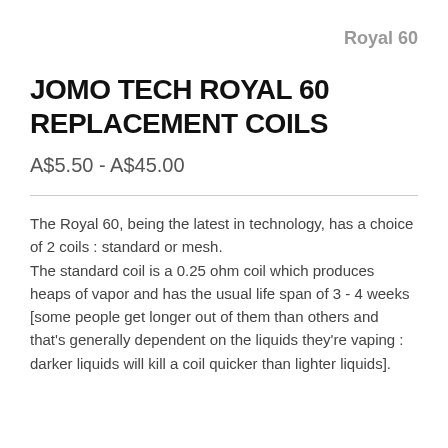Royal 60
JOMO TECH ROYAL 60 REPLACEMENT COILS
A$5.50 - A$45.00
The Royal 60, being the latest in technology, has a choice of 2 coils : standard or mesh.
The standard coil is a 0.25 ohm coil which produces heaps of vapor and has the usual life span of 3 - 4 weeks [some people get longer out of them than others and that's generally dependent on the liquids they're vaping : darker liquids will kill a coil quicker than lighter liquids].